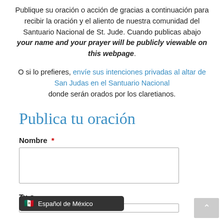Publique su oración o acción de gracias a continuación para recibir la oración y el aliento de nuestra comunidad del Santuario Nacional de St. Jude. Cuando publicas abajo your name and your prayer will be publicly viewable on this webpage.
O si lo prefieres, envíe sus intenciones privadas al altar de San Judas en el Santuario Nacional donde serán orados por los claretianos.
Publica tu oración
Nombre *
[Figure (other): Empty text input field for Nombre]
Tu o... (partially visible field label)
[Figure (other): Partially visible text input field at bottom of page]
Español de México (language selector tooltip)